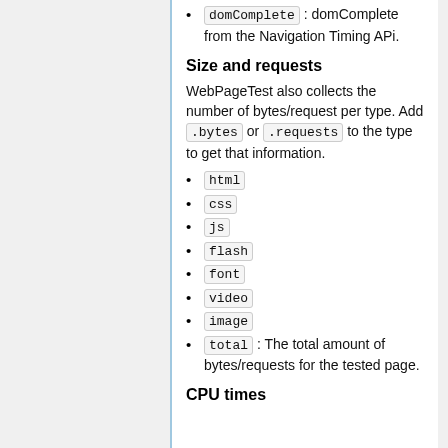domComplete : domComplete from the Navigation Timing APi.
Size and requests
WebPageTest also collects the number of bytes/request per type. Add .bytes or .requests to the type to get that information.
html
css
js
flash
font
video
image
total : The total amount of bytes/requests for the tested page.
CPU times